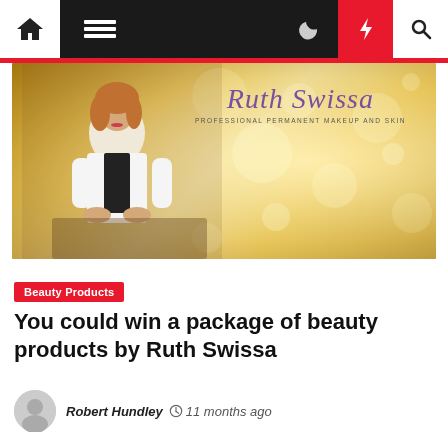Navigation bar with home, menu, moon, bolt, and search icons
[Figure (photo): Ruth Swissa professional permanent makeup and skin — woman in white blazer posing in front of golden bokeh background with Ruth Swissa logo]
Beauty Products
You could win a package of beauty products by Ruth Swissa
Robert Hundley  11 months ago